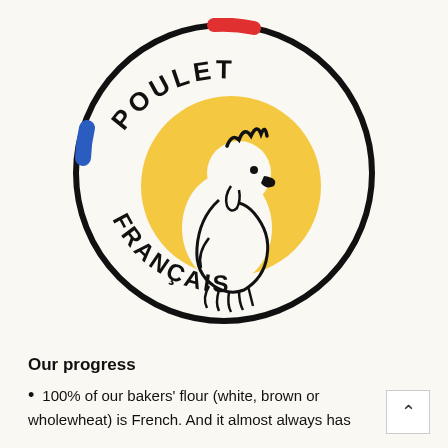[Figure (logo): Poulet Français logo: circular stamp with black border, cream background, yellow circle containing a stylized white rooster/cockerel illustration. Text 'POULET' arcs along the top inside the circle and 'FRANÇAIS' arcs along the bottom. Two French flag stripes (red top, blue left) appear on the circle border.]
Our progress
100% of our bakers' flour (white, brown or wholewheat) is French. And it almost always has